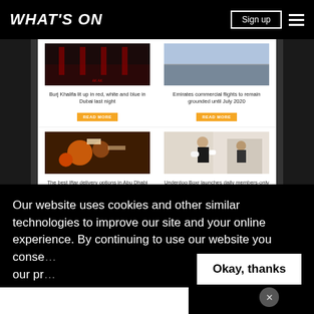WHAT'S ON
[Figure (screenshot): Mobile phone screenshot showing a news website 'What's On' with article cards: 'Burj Khalifa lit up in red, white and blue in Dubai last night', 'Emirates commercial flights to remain grounded until July 2020', 'The best Iftar delivery options in Abu Dhabi', 'Underdog Boxr launches daily members-only online workouts', social distancing ad banner, and 'Download the April issue for free' section with orange READ MORE and Click here buttons]
Our website uses cookies and other similar technologies to improve our site and your online experience. By continuing to use our website you conse... our pr...